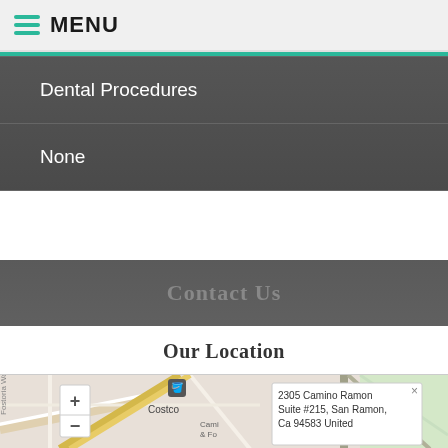MENU
Dental Procedures
None
Contact Us
Our Location
[Figure (map): Interactive street map showing the office location at 2305 Camino Ramon, Suite #215, San Ramon, Ca 94583 United, with a popup info window, zoom controls, and nearby landmarks including Costco.]